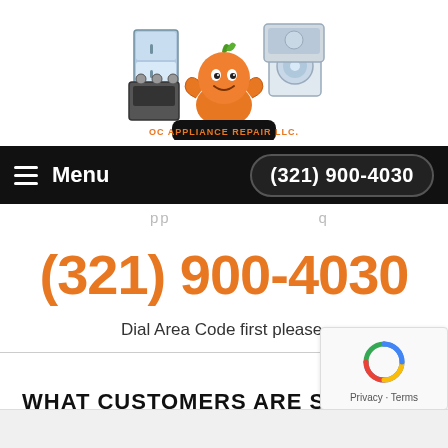[Figure (logo): OC Appliance Repair LLC logo with orange mascot character and appliances]
Menu  (321) 900-4030
(321) 900-4030
Dial Area Code first please.
WHAT CUSTOMERS ARE SAYING